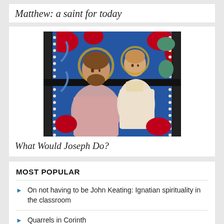Matthew: a saint for today
[Figure (photo): Stained glass window depicting Saint Joseph holding the child Jesus, with blue and red decorative glass background]
What Would Joseph Do?
MOST POPULAR
On not having to be John Keating: Ignatian spirituality in the classroom
Quarrels in Corinth
The spirituality of rest